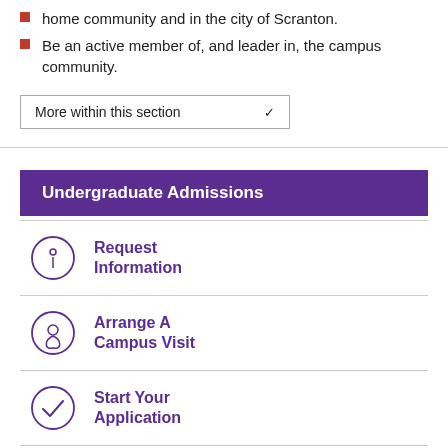home community and in the city of Scranton.
Be an active member of, and leader in, the campus community.
More within this section
Undergraduate Admissions
Request Information
Arrange A Campus Visit
Start Your Application